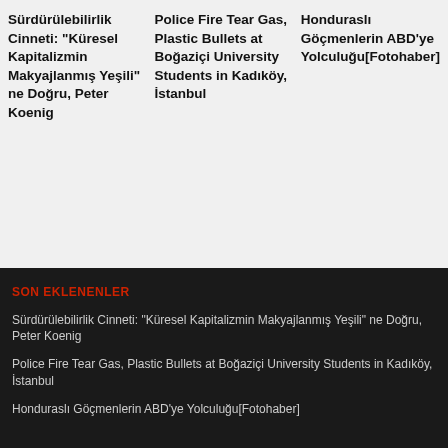Sürdürülebilirlik Cinneti: “Küresel Kapitalizmin Makyajlanmış Yeşili” ne Doğru, Peter Koenig
Police Fire Tear Gas, Plastic Bullets at Boğaziçi University Students in Kadıköy, İstanbul
Honduraslı Göçmenlerin ABD'ye Yolculuğu[Fotohaber]
SON EKLENENLER
Sürdürülebilirlik Cinneti: “Küresel Kapitalizmin Makyajlanmış Yeşili” ne Doğru, Peter Koenig
Police Fire Tear Gas, Plastic Bullets at Boğaziçi University Students in Kadıköy, İstanbul
Honduraslı Göçmenlerin ABD'ye Yolculuğu[Fotohaber]